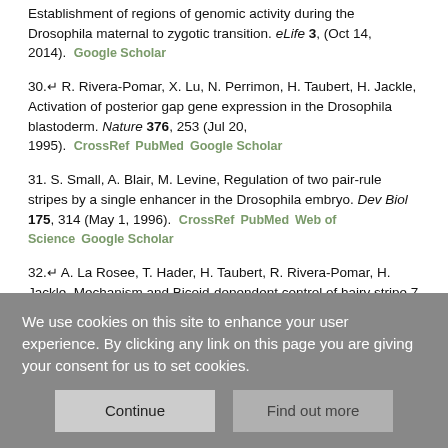Establishment of regions of genomic activity during the Drosophila maternal to zygotic transition. eLife 3, (Oct 14, 2014). Google Scholar
30.↵ R. Rivera-Pomar, X. Lu, N. Perrimon, H. Taubert, H. Jackle, Activation of posterior gap gene expression in the Drosophila blastoderm. Nature 376, 253 (Jul 20, 1995). CrossRef PubMed Google Scholar
31. S. Small, A. Blair, M. Levine, Regulation of two pair-rule stripes by a single enhancer in the Drosophila embryo. Dev Biol 175, 314 (May 1, 1996). CrossRef PubMed Web of Science Google Scholar
32.↵ A. La Rosee, T. Hader, H. Taubert, R. Rivera-Pomar, H. Jackle, Mechanism and Bicoid-dependent control of hairy stripe 7 expression in the posterior region of the Drosophila embryo. The EMBO journal 16, 4403 (Jul 16, 1997). Abstract/FREE Full Text Google Scholar
33.↵ J. Crocker et al., Nuclear Microenvironments Modulate Transcription
We use cookies on this site to enhance your user experience. By clicking any link on this page you are giving your consent for us to set cookies.